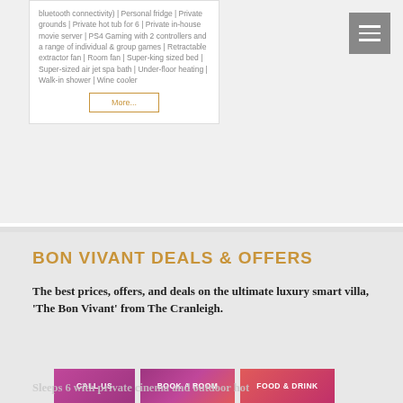bluetooth connectivity) | Personal fridge | Private grounds | Private hot tub for 6 | Private in-house movie server | PS4 Gaming with 2 controllers and a range of individual & group games | Retractable extractor fan | Room fan | Super-king sized bed | Super-sized air jet spa bath | Under-floor heating | Walk-in shower | Wine cooler
More...
BON VIVANT DEALS & OFFERS
The best prices, offers, and deals on the ultimate luxury smart villa, 'The Bon Vivant' from The Cranleigh.
CALL US
BOOK A ROOM
FOOD & DRINK
Sleeps 6 with private cinema and outdoor hot